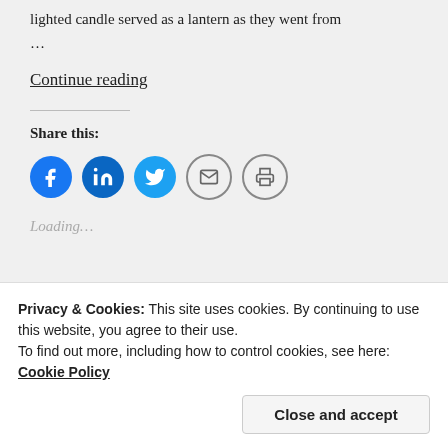lighted candle served as a lantern as they went from
…
Continue reading
Share this:
[Figure (infographic): Social share icons: Facebook (blue circle), LinkedIn (blue circle), Twitter (light blue circle), Email (envelope outline circle), Print (printer outline circle)]
Loading…
Privacy & Cookies: This site uses cookies. By continuing to use this website, you agree to their use.
To find out more, including how to control cookies, see here: Cookie Policy
Close and accept